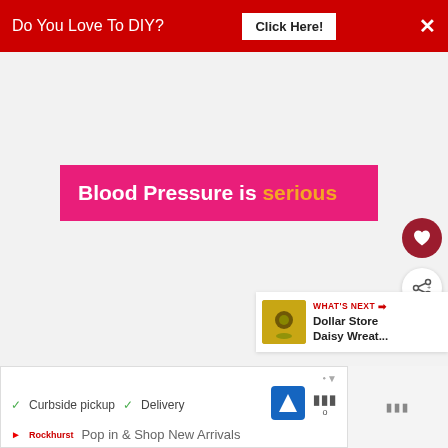Do You Love To DIY?  Click Here!  ×
[Figure (other): Pink/magenta banner with text 'Blood Pressure is serious' where 'serious' is in orange]
[Figure (illustration): Dark red circular heart/favorite button icon]
[Figure (illustration): White circular share button icon]
WHAT'S NEXT → Dollar Store Daisy Wreat...
✓ Curbside pickup  ✓ Delivery
Pop in & Shop New Arrivals